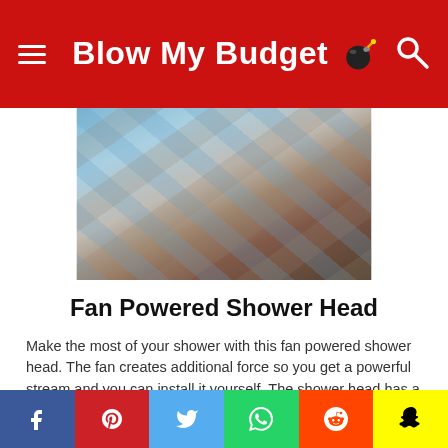Blow My Budget
[Figure (photo): Close-up photo of a fan powered shower head with blue, grey, and brown tones]
Fan Powered Shower Head
Make the most of your shower with this fan powered shower head. The fan creates additional force so you get a powerful stream and you can install it yourself. The shower head has a 1/2" thread so it will fit most showers.
$19.99
Check it out
Social share bar: Facebook, Pinterest, Twitter, WhatsApp, Reddit, Snapchat